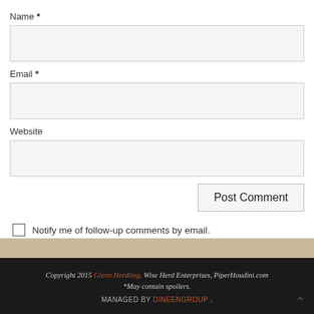Name *
Email *
Website
Post Comment
Notify me of follow-up comments by email.
Notify me of new posts by email.
Copyright 2015 Glenn Herdling. Wise Herd Enterprises, PiperHoudini.com *May contain spoilers. MANAGED BY DINEENGROUP .